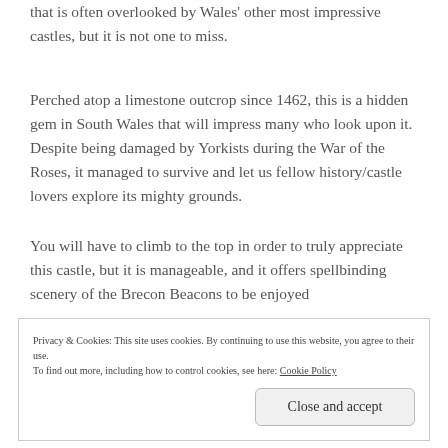that is often overlooked by Wales' other most impressive castles, but it is not one to miss.
Perched atop a limestone outcrop since 1462, this is a hidden gem in South Wales that will impress many who look upon it. Despite being damaged by Yorkists during the War of the Roses, it managed to survive and let us fellow history/castle lovers explore its mighty grounds.
You will have to climb to the top in order to truly appreciate this castle, but it is manageable, and it offers spellbinding scenery of the Brecon Beacons to be enjoyed
Privacy & Cookies: This site uses cookies. By continuing to use this website, you agree to their use.
To find out more, including how to control cookies, see here: Cookie Policy
Close and accept